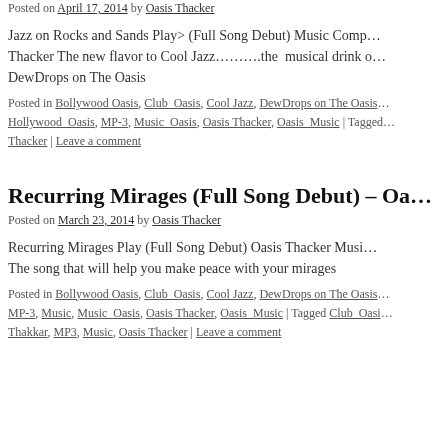Posted on April 17, 2014 by Oasis Thacker
Jazz on Rocks and Sands Play> (Full Song Debut) Music Comp… Thacker The new flavor to Cool Jazz……….the musical drink o… DewDrops on The Oasis
Posted in Bollywood Oasis, Club_Oasis, Cool Jazz, DewDrops on The Oasis… Hollywood_Oasis, MP-3, Music_Oasis, Oasis Thacker, Oasis_Music | Tagged… Thacker | Leave a comment
Recurring Mirages (Full Song Debut) – Oa…
Posted on March 23, 2014 by Oasis Thacker
Recurring Mirages Play (Full Song Debut) Oasis Thacker Musi… The song that will help you make peace with your mirages
Posted in Bollywood Oasis, Club_Oasis, Cool Jazz, DewDrops on The Oasis… MP-3, Music, Music_Oasis, Oasis Thacker, Oasis_Music | Tagged Club_Oasi… Thakkar, MP3, Music, Oasis Thacker | Leave a comment